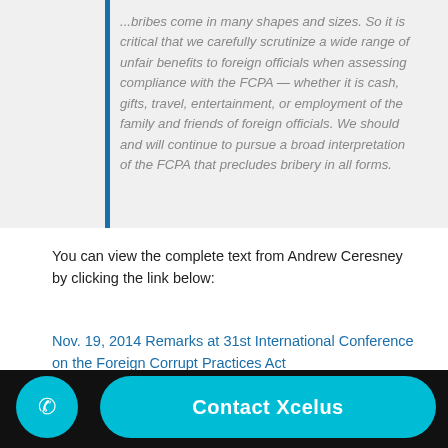...bribes come in many shapes and sizes. So it is critical that we carefully scrutinize a wide range of unfair benefits to foreign officials when assessing compliance with the FCPA — whether it is cash, gifts, travel, entertainment, or employment of the family and friends of foreign officials. We should and will continue to pursue a broad interpretation of the FCPA that precludes bribery in all forms.
You can view the complete text from Andrew Ceresney by clicking the link below:
Nov. 19, 2014 Remarks at 31st International Conference on the Foreign Corrupt Practices Act
Like this: